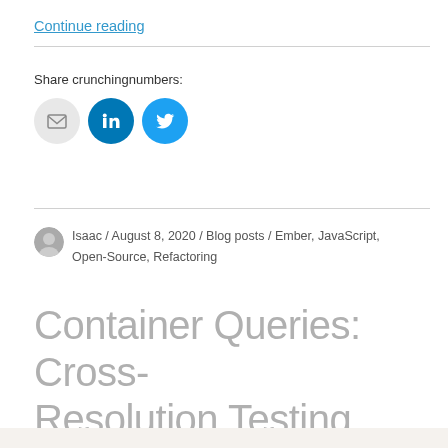Continue reading
Share crunchingnumbers:
[Figure (illustration): Three social share icon buttons: email (grey circle with envelope icon), LinkedIn (blue circle with 'in' logo), Twitter (light blue circle with bird icon)]
Isaac / August 8, 2020 / Blog posts / Ember, JavaScript, Open-Source, Refactoring
Container Queries: Cross-Resolution Testing